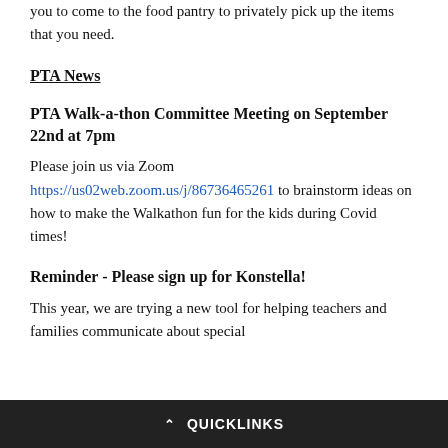you to come to the food pantry to privately pick up the items that you need.
PTA News
PTA Walk-a-thon Committee Meeting on September 22nd at 7pm
Please join us via Zoom https://us02web.zoom.us/j/86736465261 to brainstorm ideas on how to make the Walkathon fun for the kids during Covid times!
Reminder - Please sign up for Konstella!
This year, we are trying a new tool for helping teachers and families communicate about special
QUICKLINKS